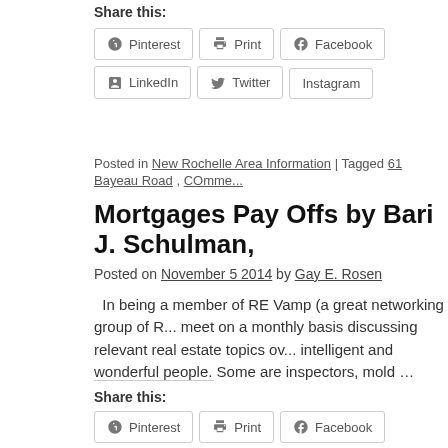Share this:
Pinterest  Print  Facebook  LinkedIn  Twitter  Instagram
Posted in New Rochelle Area Information | Tagged 61 Bayeau Road , COmme...
Mortgages Pay Offs by Bari J. Schulman,
Posted on November 5 2014 by Gay E. Rosen
In being a member of RE Vamp (a great networking group of R... meet on a monthly basis discussing relevant real estate topics ov... intelligent and wonderful people. Some are inspectors, mold …
Share this:
Pinterest  Print  Facebook  LinkedIn  Twitter  Instagram